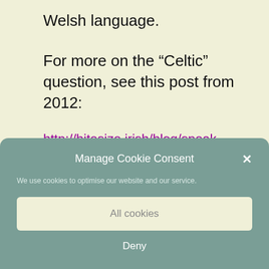Welsh language.
For more on the “Celtic” question, see this post from 2012:
http://bitesize.irish/blog/speak-celtic/
Manage Cookie Consent
We use cookies to optimise our website and our service.
All cookies
Deny